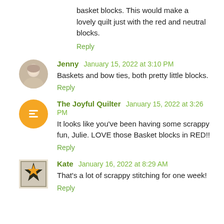basket blocks. This would make a lovely quilt just with the red and neutral blocks.
Reply
Jenny  January 15, 2022 at 3:10 PM
Baskets and bow ties, both pretty little blocks.
Reply
The Joyful Quilter  January 15, 2022 at 3:26 PM
It looks like you've been having some scrappy fun, Julie. LOVE those Basket blocks in RED!!
Reply
Kate  January 16, 2022 at 8:29 AM
That's a lot of scrappy stitching for one week!
Reply